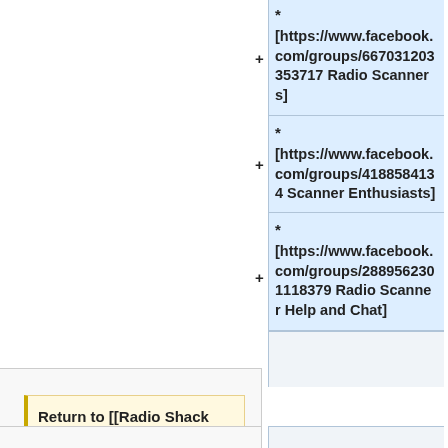* [https://www.facebook.com/groups/667031203353717 Radio Scanners]
* [https://www.facebook.com/groups/4188584134 Scanner Enthusiasts]
* [https://www.facebook.com/groups/2889562301118379 Radio Scanner Help and Chat]
Return to [[Radio Shack Scanners]]